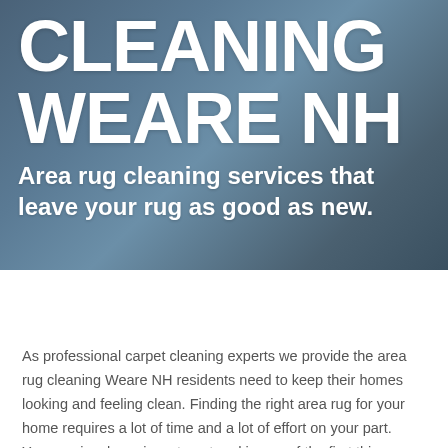[Figure (photo): Hero banner with blurred dark blue-grey background (appears to be a room interior), overlaid with large white text]
CLEANING WEARE NH
Area rug cleaning services that leave your rug as good as new.
As professional carpet cleaning experts we provide the area rug cleaning Weare NH residents need to keep their homes looking and feeling clean. Finding the right area rug for your home requires a lot of time and a lot of effort on your part. Your rug is a large investment and is one of the first things people see when they visit